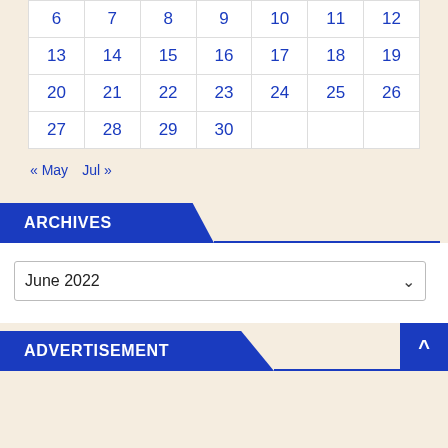| 6 | 7 | 8 | 9 | 10 | 11 | 12 |
| 13 | 14 | 15 | 16 | 17 | 18 | 19 |
| 20 | 21 | 22 | 23 | 24 | 25 | 26 |
| 27 | 28 | 29 | 30 |  |  |  |
« May   Jul »
ARCHIVES
June 2022
ADVERTISEMENT